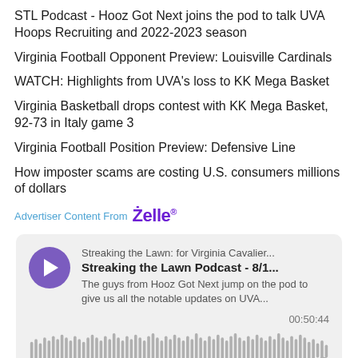STL Podcast - Hooz Got Next joins the pod to talk UVA Hoops Recruiting and 2022-2023 season
Virginia Football Opponent Preview: Louisville Cardinals
WATCH: Highlights from UVA's loss to KK Mega Basket
Virginia Basketball drops contest with KK Mega Basket, 92-73 in Italy game 3
Virginia Football Position Preview: Defensive Line
How imposter scams are costing U.S. consumers millions of dollars
Advertiser Content From Zelle
[Figure (other): Podcast player widget for 'Streaking the Lawn Podcast - 8/1...' from 'Streaking the Lawn: for Virginia Cavalier...' showing play button, description text 'The guys from Hooz Got Next jump on the pod to give us all the notable updates on UVA...', timestamp 00:50:44, and audio waveform visualization.]